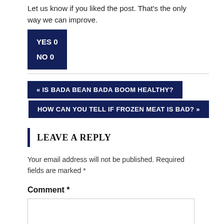Let us know if you liked the post. That's the only way we can improve.
YES 0
NO 0
« IS BADA BEAN BADA BOOM HEALTHY?
HOW CAN YOU TELL IF FROZEN MEAT IS BAD? »
LEAVE A REPLY
Your email address will not be published. Required fields are marked *
Comment *